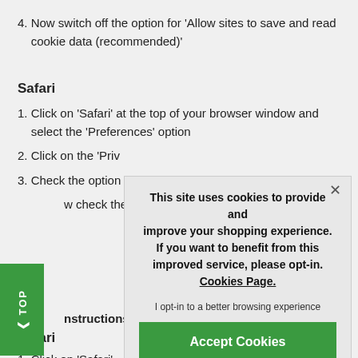4. Now switch off the option for 'Allow sites to save and read cookie data (recommended)'
Safari
1. Click on 'Safari' at the top of your browser window and select the 'Preferences' option
2. Click on the 'Priv
3. Check the option
w check the o
[Figure (screenshot): Cookie consent overlay popup with text 'This site uses cookies to provide and improve your shopping experience. If you want to benefit from this improved service, please opt-in. Cookies Page.' and an 'Accept Cookies' green button, plus close X button]
nstructions:
Safari
1. Click on 'Safari'